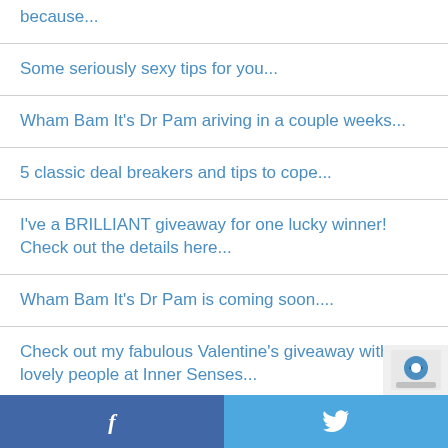because...
Some seriously sexy tips for you...
Wham Bam It's Dr Pam ariving in a couple weeks...
5 classic deal breakers and tips to cope...
I've a BRILLIANT giveaway for one lucky winner! Check out the details here...
Wham Bam It's Dr Pam is coming soon....
Check out my fabulous Valentine's giveaway with the lovely people at Inner Senses...
f  Twitter